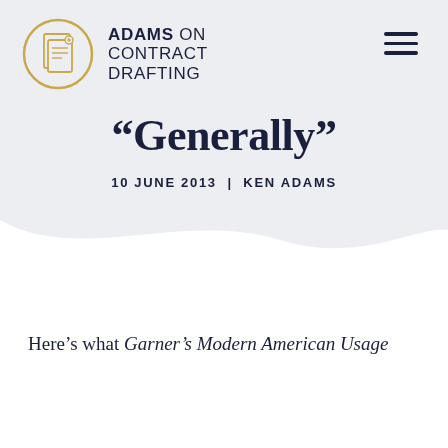[Figure (logo): Adams on Contract Drafting logo: gold circle with overlapping document pages, bold text 'ADAMS ON CONTRACT DRAFTING']
“Generally”
10 JUNE 2013 | KEN ADAMS
Here’s what Garner’s Modern American Usage